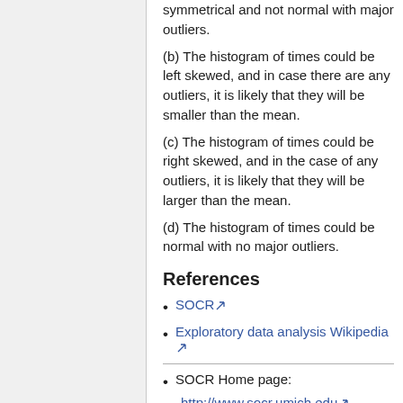symmetrical and not normal with major outliers.
(b) The histogram of times could be left skewed, and in case there are any outliers, it is likely that they will be smaller than the mean.
(c) The histogram of times could be right skewed, and in the case of any outliers, it is likely that they will be larger than the mean.
(d) The histogram of times could be normal with no major outliers.
References
SOCR
Exploratory data analysis Wikipedia
SOCR Home page:
http://www.socr.umich.edu